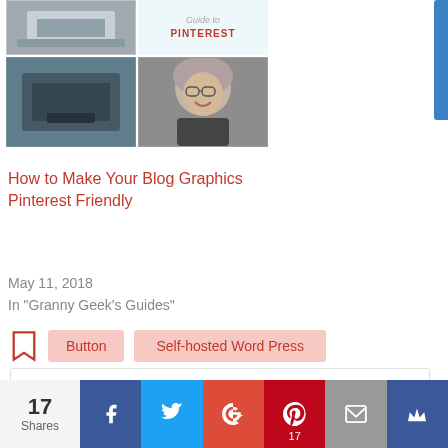[Figure (illustration): Blog post thumbnail grid showing Pinterest guide image and person with glasses]
How to Make Your Blog Graphics Pinterest Friendly
May 11, 2018
In "Granny Geek's Guides"
Button
Self-hosted Word Press
5 COMMENTS
Mares Ro...
17 Shares